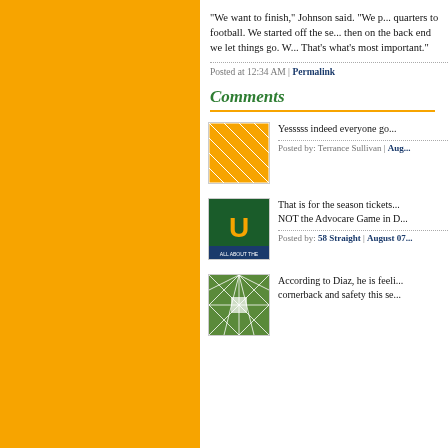"We want to finish," Johnson said. "We p... quarters to football. We started off the se... then on the back end we let things go. W... That's what's most important."
Posted at 12:34 AM | Permalink
Comments
[Figure (photo): Orange and white geometric/grid pattern avatar thumbnail]
Yesssss indeed everyone go...
Posted by: Terrance Sullivan | Aug...
[Figure (logo): University of Miami Hurricanes logo - green U with orange - ALL ABOUT THE text]
That is for the season tickets...
NOT the Advocare Game in D...
Posted by: 58 Straight | August 07...
[Figure (photo): Green and white geometric/grid star pattern avatar thumbnail]
According to Diaz, he is feeli... cornerback and safety this se...